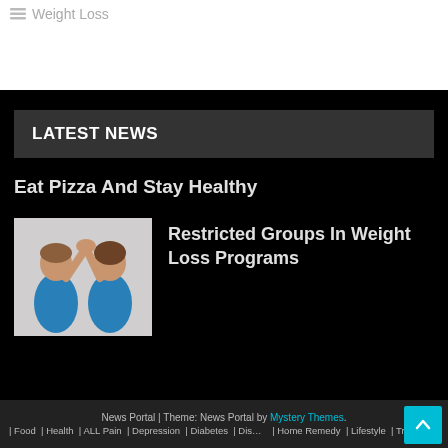Weight Loss
LATEST NEWS
Eat Pizza And Stay Healthy
[Figure (photo): Two women in blue tank tops giving a high five]
Restricted Groups In Weight Loss Programs
News Portal | Theme: News Portal by Mystery Themes. | Food | Health | ALL Pain | Depression | Diabetes | Dis... | Home Remedy | Lifestyle | Treatment